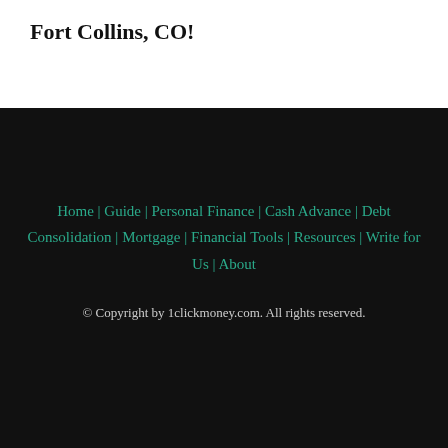Fort Collins, CO!
Home | Guide | Personal Finance | Cash Advance | Debt Consolidation | Mortgage | Financial Tools | Resources | Write for Us | About
© Copyright by 1clickmoney.com. All rights reserved.